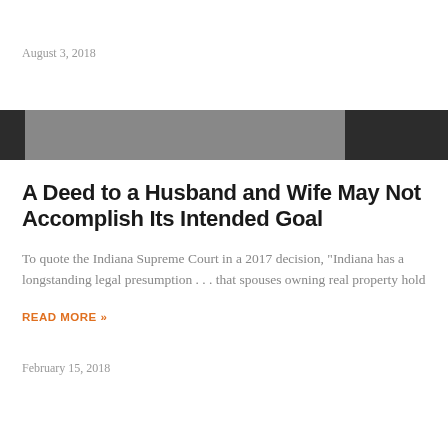August 3, 2018
A Deed to a Husband and Wife May Not Accomplish Its Intended Goal
To quote the Indiana Supreme Court in a 2017 decision, "Indiana has a longstanding legal presumption . . . that spouses owning real property hold
READ MORE »
February 15, 2018
Fee Shifting Under Goodrich-Implications for General Contractors and Subcontracts
Indiana courts must shift attorneys' fees to prevailing